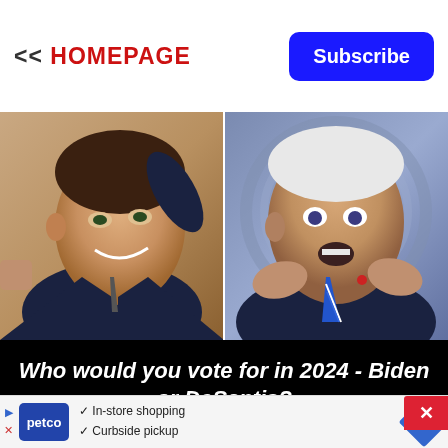<< HOMEPAGE
Subscribe
[Figure (photo): Side-by-side photos of Ron DeSantis (left) and Joe Biden (right)]
Who would you vote for in 2024 - Biden or DeSantis?
[Figure (infographic): Petco advertisement banner with in-store shopping and curbside pickup text]